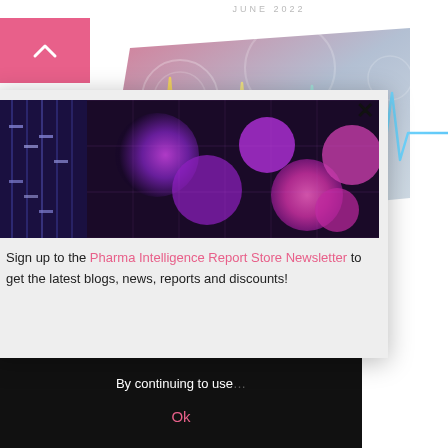JUNE 2022
[Figure (illustration): 3D angled banner with colorful ECG/heartbeat waveline on gradient pink-to-blue-gray background with circular bubble patterns]
Point of Care Diagno...
$4,750.0...
We use cookies to imp... use of cookies and h...
By continuing to use...
Ok
[Figure (photo): Purple and pink glowing biological cells/neurons on dark background]
Sign up to the Pharma Intelligence Report Store Newsletter to get the latest blogs, news, reports and discounts!